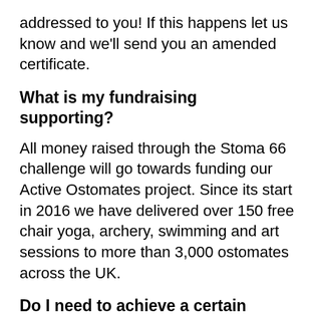addressed to you! If this happens let us know and we'll send you an amended certificate.
What is my fundraising supporting?
All money raised through the Stoma 66 challenge will go towards funding our Active Ostomates project. Since its start in 2016 we have delivered over 150 free chair yoga, archery, swimming and art sessions to more than 3,000 ostomates across the UK.
Do I need to achieve a certain distance?